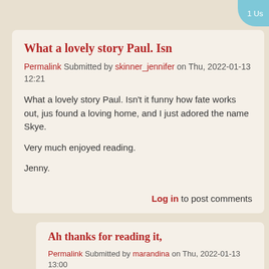What a lovely story Paul. Isn
Permalink Submitted by skinner_jennifer on Thu, 2022-01-13 12:21
What a lovely story Paul. Isn't it funny how fate works out, just found a loving home, and I just adored the name Skye.

Very much enjoyed reading.

Jenny.
Log in to post comments
Ah thanks for reading it,
Permalink Submitted by marandina on Thu, 2022-01-13 13:00